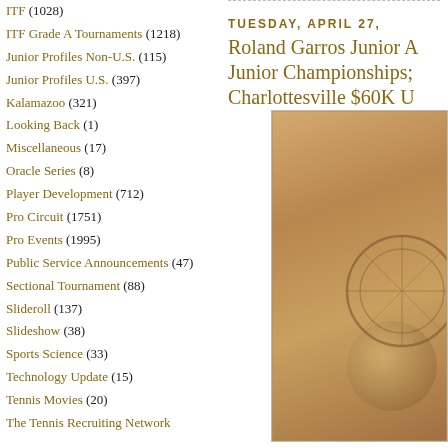ITF (1028)
ITF Grade A Tournaments (1218)
Junior Profiles Non-U.S. (115)
Junior Profiles U.S. (397)
Kalamazoo (321)
Looking Back (1)
Miscellaneous (17)
Oracle Series (8)
Player Development (712)
Pro Circuit (1751)
Pro Events (1995)
Public Service Announcements (47)
Sectional Tournament (88)
Slideroll (137)
Slideshow (38)
Sports Science (33)
Technology Update (15)
Tennis Movies (20)
The Tennis Recruiting Network
TUESDAY, APRIL 27,
Roland Garros Junior A Junior Championships; Charlottesville $60K U
[Figure (photo): Close-up photo of a wooden tennis racket head, showing the strings and wooden frame with warm brown tones.]